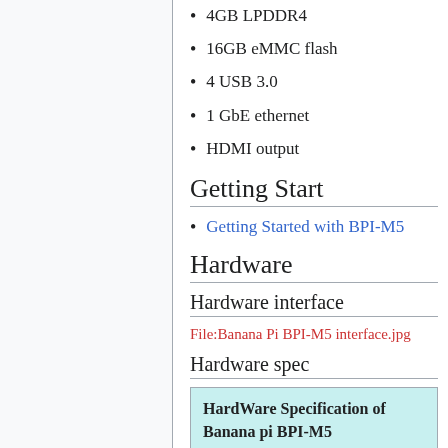4GB LPDDR4
16GB eMMC flash
4 USB 3.0
1 GbE ethernet
HDMI output
Getting Start
Getting Started with BPI-M5
Hardware
Hardware interface
File:Banana Pi BPI-M5 interface.jpg
Hardware spec
| HardWare Specification of Banana pi BPI-M5 |